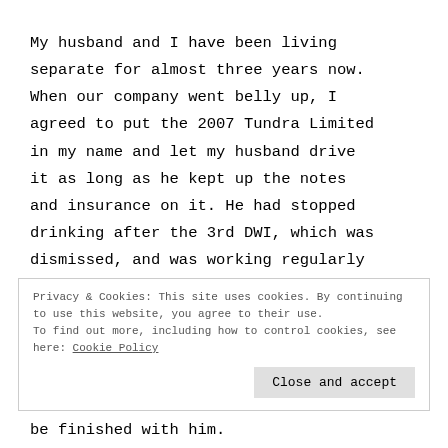My husband and I have been living separate for almost three years now. When our company went belly up, I agreed to put the 2007 Tundra Limited in my name and let my husband drive it as long as he kept up the notes and insurance on it. He had stopped drinking after the 3rd DWI, which was dismissed, and was working regularly
Privacy & Cookies: This site uses cookies. By continuing to use this website, you agree to their use. To find out more, including how to control cookies, see here: Cookie Policy
Close and accept
be finished with him.